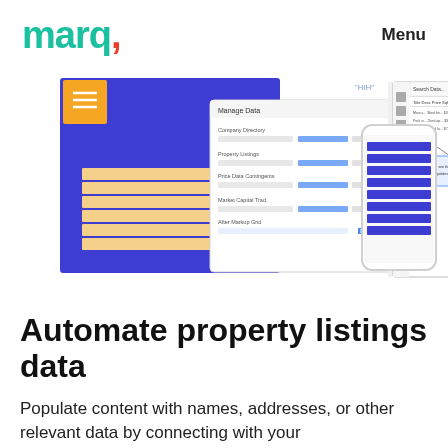marq. Menu
[Figure (screenshot): Screenshot of Marq software interface showing a 'Manage Data' dialog with multiple data source fields, alongside a panel showing a spreadsheet/table view and a phone mockup showing a document with blue horizontal lines/stripes. The background includes a blue and orange/yellow rectangle representing a document template.]
Automate property listings data
Populate content with names, addresses, or other relevant data by connecting with your